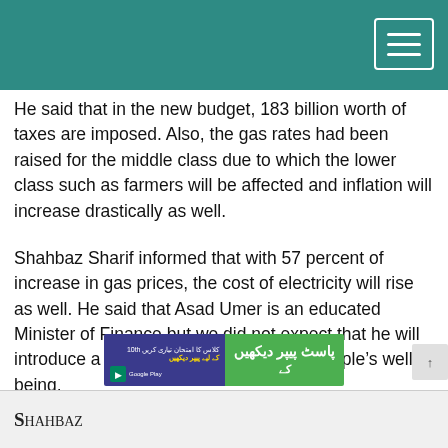Header navigation bar with hamburger menu
He said that in the new budget, 183 billion worth of taxes are imposed. Also, the gas rates had been raised for the middle class due to which the lower class such as farmers will be affected and inflation will increase drastically as well.
Shahbaz Sharif informed that with 57 percent of increase in gas prices, the cost of electricity will rise as well. He said that Asad Umer is an educated Minister of Finance but we did not expect that he will introduce a budget that will be against people's well-being.
Opposition leader also said that you can impose more taxes on the elite class and everyone will be fine but if you ask the poor to pay so many taxes then it will be an act of cruelty towards them and their children.
[Figure (screenshot): Advertisement banner with Urdu text and Google Play button, green and dark blue background]
Bottom navigation bar with partial text